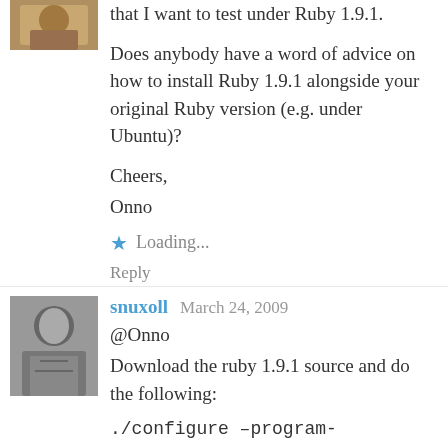[Figure (photo): Partial avatar image at top left, cropped]
that I want to test under Ruby 1.9.1.

Does anybody have a word of advice on how to install Ruby 1.9.1 alongside your original Ruby version (e.g. under Ubuntu)?

Cheers,
Onno
Loading...
Reply
[Figure (photo): Black and white avatar photo of a person]
snuxoll   March 24, 2009
@Onno
Download the ruby 1.9.1 source and do the following:
./configure –program-suffix=1.9
make